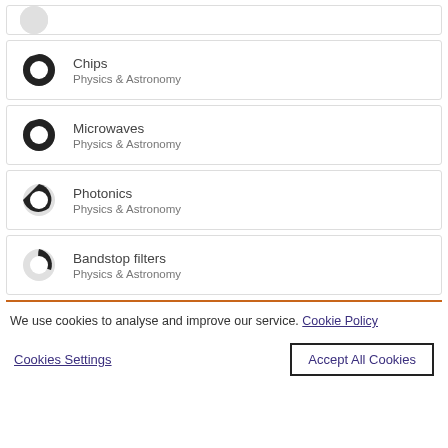Chips — Physics & Astronomy
Microwaves — Physics & Astronomy
Photonics — Physics & Astronomy
Bandstop filters — Physics & Astronomy
We use cookies to analyse and improve our service. Cookie Policy
Cookies Settings | Accept All Cookies